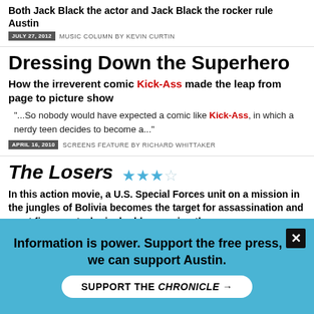Both Jack Black the actor and Jack Black the rocker rule Austin
JULY 27, 2012 MUSIC COLUMN BY KEVIN CURTIN
Dressing Down the Superhero
How the irreverent comic Kick-Ass made the leap from page to picture show
"...So nobody would have expected a comic like Kick-Ass, in which a nerdy teen decides to become a..."
APRIL 16, 2010 SCREENS FEATURE BY RICHARD WHITTAKER
The Losers
In this action movie, a U.S. Special Forces unit on a mission in the jungles of Bolivia becomes the target for assassination and must figure out who is double-crossing them.
"...morbidity and minus the ethically sketchy tone) than even Kick-Ass. Morgan (Watchmen's The Comedian) is Colonel Clay, the hulking..."
APRIL 30, 2010 MOVIE REVIEW BY MARC SAVLOV
Information is power. Support the free press, so we can support Austin.
SUPPORT THE CHRONICLE →